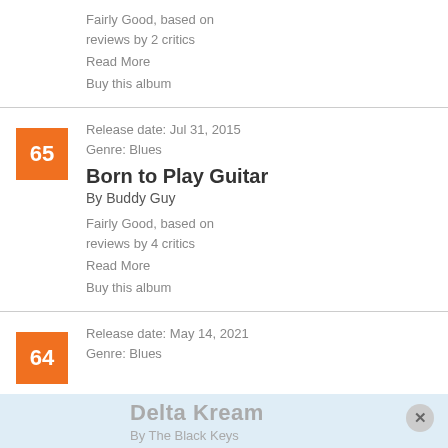Fairly Good, based on reviews by 2 critics
Read More
Buy this album
Release date: Jul 31, 2015
Genre: Blues
Born to Play Guitar
By Buddy Guy
Fairly Good, based on reviews by 4 critics
Read More
Buy this album
Release date: May 14, 2021
Genre: Blues
Delta Kream
By The Black Keys